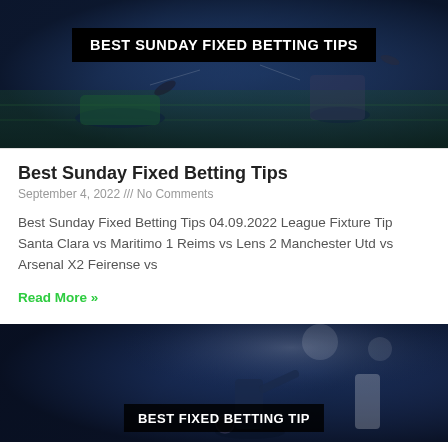[Figure (photo): Soccer/football action photo showing players on a grass field with a dark blue overlay. A black banner with white bold text reads BEST SUNDAY FIXED BETTING TIPS.]
Best Sunday Fixed Betting Tips
September 4, 2022 /// No Comments
Best Sunday Fixed Betting Tips 04.09.2022 League Fixture Tip Santa Clara vs Maritimo 1 Reims vs Lens 2 Manchester Utd vs Arsenal X2 Feirense vs
Read More »
[Figure (photo): Soccer/football action photo showing a player kicking a ball under stadium lights with a dark blue overlay. A partial dark banner at the bottom shows partial text.]